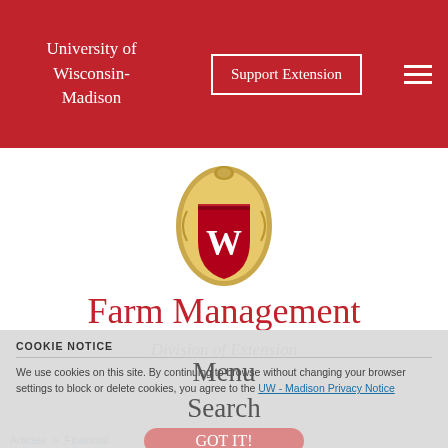University of Wisconsin-Madison
Support Extension
[Figure (logo): University of Wisconsin-Madison shield/crest logo with W on red background inside ornate golden oval frame]
Farm Management
Division of Extension
COOKIE NOTICE
We use cookies on this site. By continuing to browse without changing your browser settings to block or delete cookies, you agree to the UW - Madison Privacy Notice
Menu
Search
GOT IT!
Articles > Financial